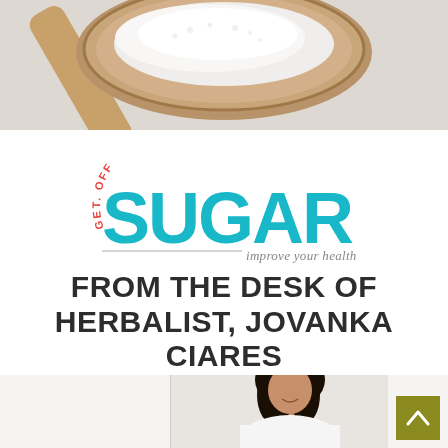[Figure (photo): Close-up of a wooden spoon filled with white sugar crystals on a light background]
[Figure (logo): Get Off Sugar logo: curved text 'GET OFF' in red arranged in an arc above large teal 'SUGAR' text, with tagline 'improve your health' and a horizontal line]
FROM THE DESK OF HERBALIST, JOVANKA CIARES
[Figure (photo): Smiling woman with dark curly hair wearing white, photographed from waist up against white background]
[Figure (other): Olive/yellow-green scroll-to-top button with upward arrow chevron]